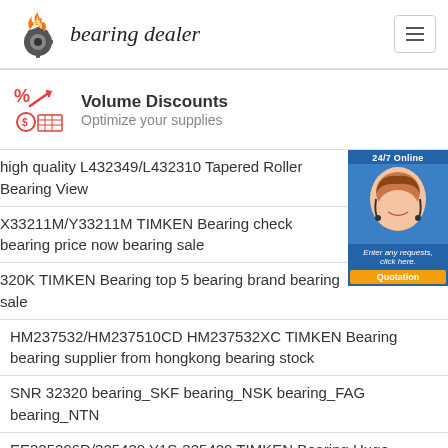[Figure (logo): Bearing Dealer logo with flaming gear icon and italic text 'bearing dealer']
[Figure (infographic): Volume Discounts promo icon with percent sign and upward arrow, coin/grid icon below]
Volume Discounts
Optimize your supplies
high quality L432349/L432310 Tapered Roller Bearing View
X33211M/Y33211M TIMKEN Bearing check bearing price now bearing sale
320K TIMKEN Bearing top 5 bearing brand bearing sale
HM237532/HM237510CD HM237532XC TIMKEN Bearing bearing supplier from hongkong bearing stock
SNR 32320 bearing_SKF bearing_NSK bearing_FAG bearing_NTN
EE325296D/325420 Y1S-325420 TIMKEN Bearing Huge Stocks bearing world bearing supply
32326 NSK Bearing | 32326 Rodamientos
HH234032/HH234011CD HH234032XC TIMKEN Bearing bearing in stock now bearing cheap